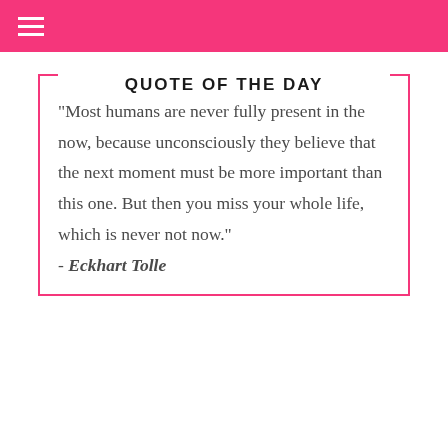≡
QUOTE OF THE DAY
"Most humans are never fully present in the now, because unconsciously they believe that the next moment must be more important than this one. But then you miss your whole life, which is never not now."
- Eckhart Tolle